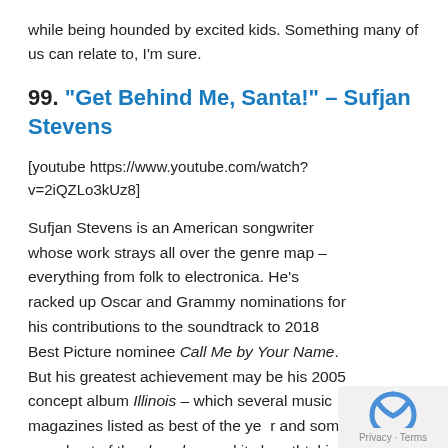while being hounded by excited kids. Something many of us can relate to, I'm sure.
99. "Get Behind Me, Santa!" – Sufjan Stevens
[youtube https://www.youtube.com/watch?v=2iQZLo3kUz8]
Sufjan Stevens is an American songwriter whose work strays all over the genre map – everything from folk to electronica. He's racked up Oscar and Grammy nominations for his contributions to the soundtrack to 2018 Best Picture nominee Call Me by Your Name. But his greatest achievement may be his 2005 concept album Illinois – which several music magazines listed as best of the year and some even best of the decade – and its breathtaking centrepiece track, "Chicago".